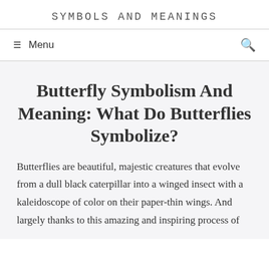SYMBOLS AND MEANINGS
☰ Menu  🔍
Butterfly Symbolism And Meaning: What Do Butterflies Symbolize?
Butterflies are beautiful, majestic creatures that evolve from a dull black caterpillar into a winged insect with a kaleidoscope of color on their paper-thin wings. And largely thanks to this amazing and inspiring process of